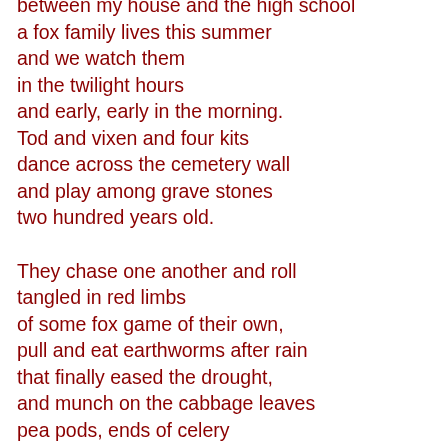between my house and the high school
a fox family lives this summer
and we watch them
in the twilight hours
and early, early in the morning.
Tod and vixen and four kits
dance across the cemetery wall
and play among grave stones
two hundred years old.

They chase one another and roll
tangled in red limbs
of some fox game of their own,
pull and eat earthworms after rain
that finally eased the drought,
and munch on the cabbage leaves
pea pods, ends of celery